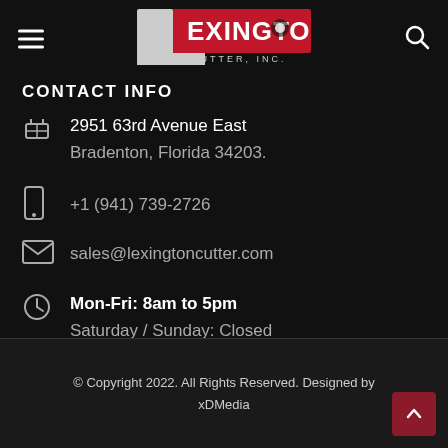Lexington Cutter, Inc. — navigation header with hamburger menu and search icon
CONTACT INFO
2951 63rd Avenue East
Bradenton, Florida 34203.
+1 (941) 739-2726
sales@lexingtoncutter.com
Mon-Fri: 8am to 5pm
Saturday / Sunday: Closed
© Copyright 2022. All Rights Reserved. Designed by xDMedia